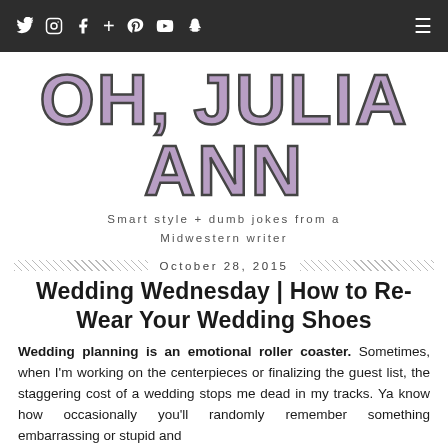Twitter Instagram Facebook + Pinterest YouTube Snapchat [hamburger menu]
OH, JULIA ANN
Smart style + dumb jokes from a Midwestern writer
October 28, 2015
Wedding Wednesday | How to Re-Wear Your Wedding Shoes
Wedding planning is an emotional roller coaster. Sometimes, when I'm working on the centerpieces or finalizing the guest list, the staggering cost of a wedding stops me dead in my tracks. Ya know how occasionally you'll randomly remember something embarrassing or stupid and it's as if all oxygen is for a moment? It's like that, but it